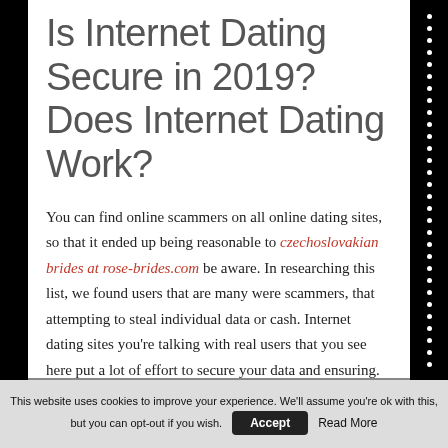Is Internet Dating Secure in 2019? Does Internet Dating Work?
You can find online scammers on all online dating sites, so that it ended up being reasonable to czechoslovakian brides at rose-brides.com be aware. In researching this list, we found users that are many were scammers, that attempting to steal individual data or cash. Internet dating sites you're talking with real users that you see here put a lot of effort to secure your data and ensuring.
This website uses cookies to improve your experience. We'll assume you're ok with this, but you can opt-out if you wish. Accept Read More